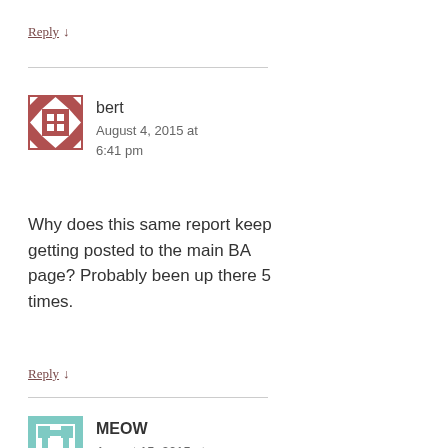Reply ↓
[Figure (illustration): Avatar for bert - geometric pattern in brownish-red on white]
bert
August 4, 2015 at 6:41 pm
Why does this same report keep getting posted to the main BA page? Probably been up there 5 times.
Reply ↓
[Figure (illustration): Avatar for MEOW - geometric pattern in teal/mint on white]
MEOW
August 15, 2015 at 7:40 am